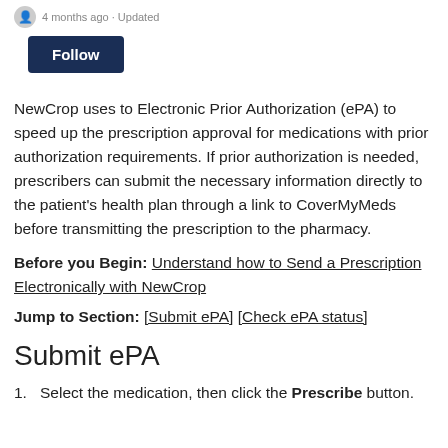4 months ago · Updated
Follow
NewCrop uses to Electronic Prior Authorization (ePA) to speed up the prescription approval for medications with prior authorization requirements. If prior authorization is needed, prescribers can submit the necessary information directly to the patient's health plan through a link to CoverMyMeds before transmitting the prescription to the pharmacy.
Before you Begin: Understand how to Send a Prescription Electronically with NewCrop
Jump to Section: [Submit ePA] [Check ePA status]
Submit ePA
Select the medication, then click the Prescribe button.